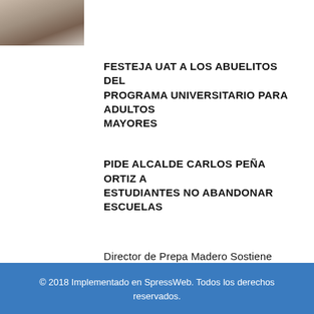[Figure (photo): Photo of people, partially cropped, top-left corner of page]
FESTEJA UAT A LOS ABUELITOS DEL PROGRAMA UNIVERSITARIO PARA ADULTOS MAYORES
PIDE ALCALDE CARLOS PEÑA ORTIZ A ESTUDIANTES NO ABANDONAR ESCUELAS
Director de Prepa Madero Sostiene Encuentro con Estudiantes
© 2018 Implementado en SpressWeb. Todos los derechos reservados.